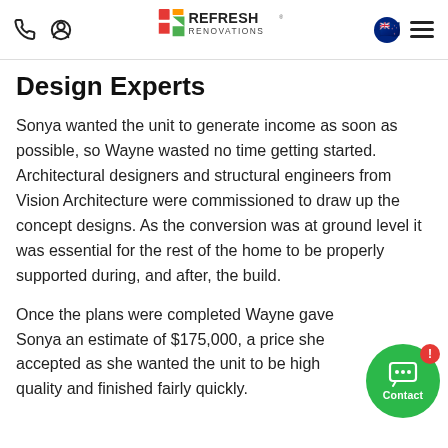Refresh Renovations — navigation header with phone, user, logo, NZ flag, and menu icons
Design Experts
Sonya wanted the unit to generate income as soon as possible, so Wayne wasted no time getting started. Architectural designers and structural engineers from Vision Architecture were commissioned to draw up the concept designs. As the conversion was at ground level it was essential for the rest of the home to be properly supported during, and after, the build.
Once the plans were completed Wayne gave Sonya an estimate of $175,000, a price she accepted as she wanted the unit to be high quality and finished fairly quickly.